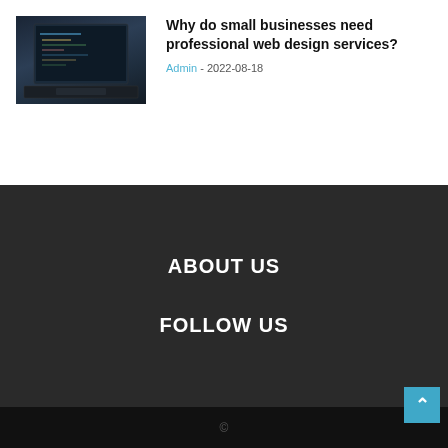[Figure (photo): Laptop computer with code on screen, dark background]
Why do small businesses need professional web design services?
Admin - 2022-08-18
ABOUT US
FOLLOW US
©